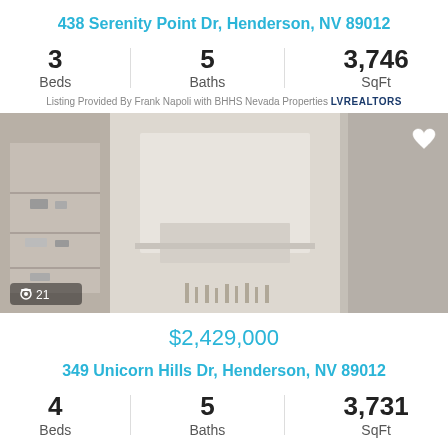438 Serenity Point Dr, Henderson, NV 89012
3 Beds   5 Baths   3,746 SqFt
Listing Provided By Frank Napoli with BHHS Nevada Properties LVR REALTORS
[Figure (photo): Interior photo of a living room with beige/taupe tones, floating shelves on left, large fireplace surround in center, candles at base. Photo count badge shows 21.]
$2,429,000
349 Unicorn Hills Dr, Henderson, NV 89012
4 Beds   5 Baths   3,731 SqFt